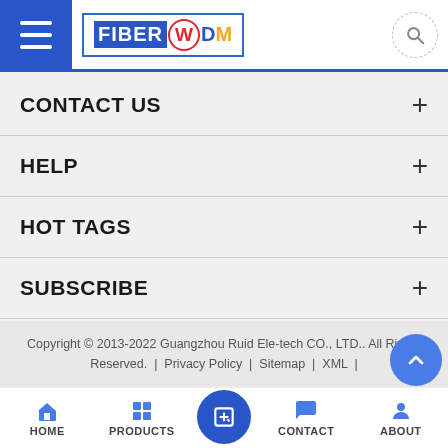[Figure (logo): FiberWDM logo with hamburger menu icon on left and search icon on right]
CONTACT US
HELP
HOT TAGS
SUBSCRIBE
Copyright © 2013-2022 Guangzhou Ruid Ele-tech CO., LTD.. All Rights Reserved. | Privacy Policy | Sitemap | XML |
HOME | PRODUCTS | CONTACT | ABOUT